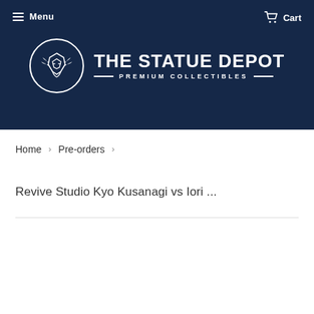Menu   Cart
[Figure (logo): The Statue Depot logo: circular emblem with armored helmet icon, text 'THE STATUE DEPOT' and 'PREMIUM COLLECTIBLES' on dark navy background]
Home › Pre-orders ›
Revive Studio Kyo Kusanagi vs Iori ...